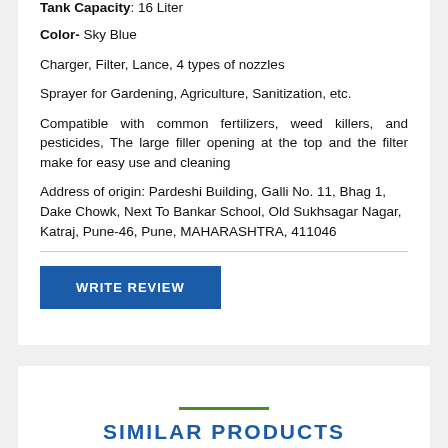Tank Capacity: 16 Liter
Color- Sky Blue
Charger, Filter, Lance, 4 types of nozzles
Sprayer for Gardening, Agriculture, Sanitization, etc.
Compatible with common fertilizers, weed killers, and pesticides, The large filler opening at the top and the filter make for easy use and cleaning
Address of origin: Pardeshi Building, Galli No. 11, Bhag 1, Dake Chowk, Next To Bankar School, Old Sukhsagar Nagar, Katraj, Pune-46, Pune, MAHARASHTRA, 411046
WRITE REVIEW
SIMILAR PRODUCTS